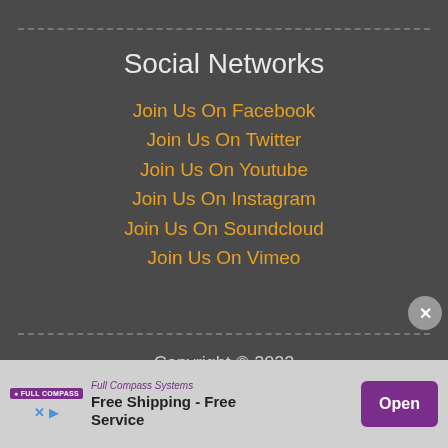Social Networks
Join Us On Facebook
Join Us On Twitter
Join Us On Youtube
Join Us On Instagram
Join Us On Soundcloud
Join Us On Vimeo
Copyright © 2022
Looper Time : 2022-08-19 14:19:37 | Version l-3110
[Figure (other): Advertisement banner for Full Compass Systems: Free Shipping - Free Service, with Open button]